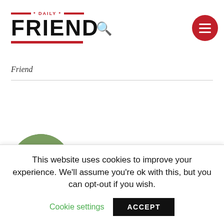[Figure (logo): Daily Friend logo with red dashes, bold FRIEND text, and red underline]
Friend
[Figure (photo): Circular cropped portrait photo of a bald older man outdoors]
This website uses cookies to improve your experience. We'll assume you're ok with this, but you can opt-out if you wish.
Cookie settings
ACCEPT